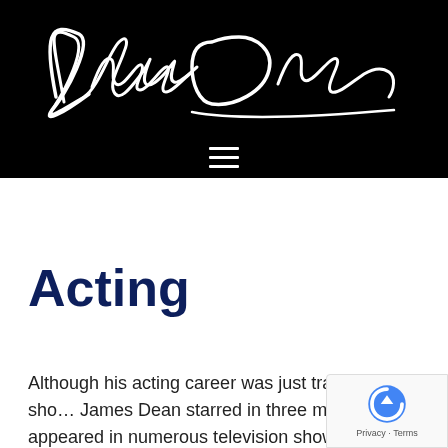[Figure (logo): Black header banner with James Dean cursive signature in white on black background, with hamburger menu icon below]
Acting
Although his acting career was just tragically sho… James Dean starred in three movies, appeared in numerous television shows, and took to the stage on